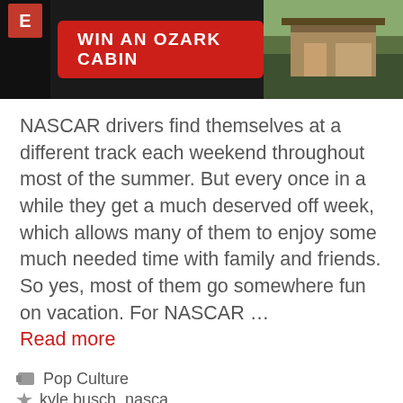[Figure (screenshot): Advertisement banner: dark background with red button reading 'WIN AN OZARK CABIN' and a cabin photo on the right]
NASCAR drivers find themselves at a different track each weekend throughout most of the summer. But every once in a while they get a much deserved off week, which allows many of them to enjoy some much needed time with family and friends. So yes, most of them go somewhere fun on vacation. For NASCAR … Read more
Pop Culture
kyle busch, nasca…
Leave a comment…
[Figure (screenshot): Video player overlay with dark background and blue/cyan play button icon, with mute icon in lower left]